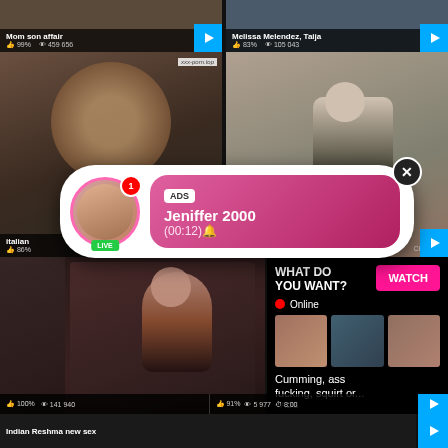[Figure (screenshot): Adult video thumbnail grid screenshot showing video titles, like percentages, view counts, and overlaid advertisements including a live chat popup and a 'What Do You Want? Watch' ad overlay]
Mom son affair
99% 459 656
Melissa Melendez, Taija
83% 105 043
xxx-porn.top
ADS Jeniffer 2000 (00:12)🔔
italian
86%
WHAT DO YOU WANT? WATCH • Online
Cumming, ass fucking, squirt or... • ADS
Wierdest and most
100% 141 940
Indian Reshma new sex
91% 5 977 8:00